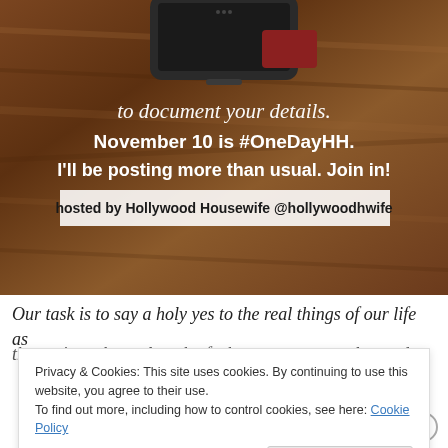[Figure (photo): Promotional image with a wooden table background and a smartphone at the top. Overlay text reads: 'to document your details. November 10 is #OneDayHH. I'll be posting more than usual. Join in! hosted by Hollywood Housewife @hollywoodhwife']
Our task is to say a holy yes to the real things of our life as they exist – the real truth of who we are: several pounds
Privacy & Cookies: This site uses cookies. By continuing to use this website, you agree to their use. To find out more, including how to control cookies, see here: Cookie Policy
Close and accept